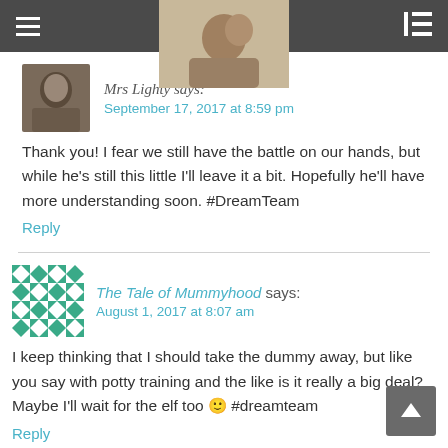Mrs Lighty says: September 17, 2017 at 8:59 pm
Thank you! I fear we still have the battle on our hands, but while he's still this little I'll leave it a bit. Hopefully he'll have more understanding soon. #DreamTeam
Reply
The Tale of Mummyhood says: August 1, 2017 at 8:07 am
I keep thinking that I should take the dummy away, but like you say with potty training and the like is it really a big deal? Maybe I'll wait for the elf too 🙂 #dreamteam
Reply